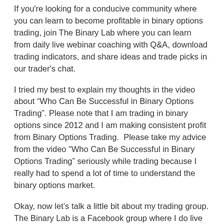If you're looking for a conducive community where you can learn to become profitable in binary options trading, join The Binary Lab where you can learn from daily live webinar coaching with Q&A, download trading indicators, and share ideas and trade picks in our trader's chat.
I tried my best to explain my thoughts in the video about “Who Can Be Successful in Binary Options Trading”. Please note that I am trading in binary options since 2012 and I am making consistent profit from Binary Options Trading.  Please take my advice from the video “Who Can Be Successful in Binary Options Trading” seriously while trading because I really had to spend a lot of time to understand the binary options market.
Okay, now let’s talk a little bit about my trading group. The Binary Lab is a Facebook group where I do live trading sessions as a lead trader. As a member, you can follow my trading screen and you can trade also. I always post recorded webinars inside the group so my members can watch later.